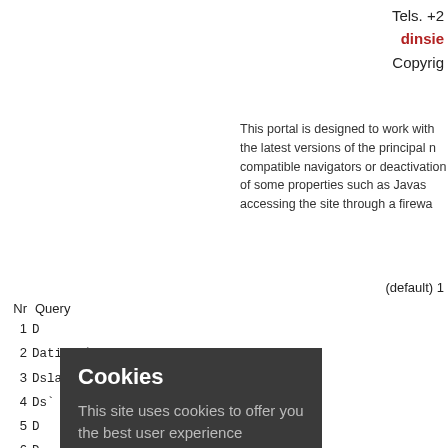Tels. +2
dinsie
Copyrig
This portal is designed to work with the latest versions of the principal n compatible navigators or deactivation of some properties such as Javas accessing the site through a firewa
(default) 1
| Nr | Query |
| --- | --- |
| 1 | D |
| 2 | D ations` |
| 3 | D slations` |
| 4 | D s` |
| 5 | D |
| 6 | D |
| 7 | D |
| 8 | D s_autors` |
| 9 | D lations` |
| 10 | D |
| 11 | D s_categories` |
| 12 | D translations` |
| 13 | D |
| 14 | DESCRIBE `catcolleccions` |
| 15 | DESCRIBE `catcolleccion_translations` |
| 16 | DESCRIBE `publicacions_colleccions` |
| 17 | DESCRIBE `colleccion_translations` |
| 18 | DESCRIBE `editors` |
Cookies
This site uses cookies to offer you the best user experience possible. In continuing to browse, you are consenting to accept both the aforementioned cookies and our cookies policy.